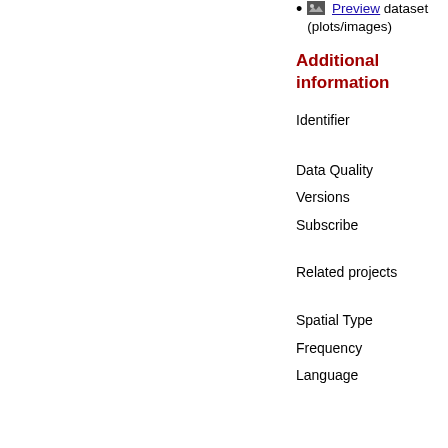Preview dataset (plots/images)
Additional information
Identifier
Data Quality
Versions
Subscribe
Related projects
Spatial Type
Frequency
Language